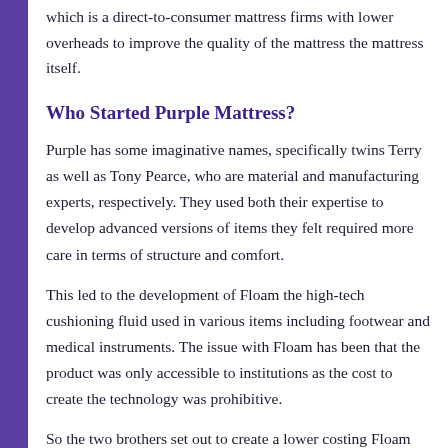which is a direct-to-consumer mattress firms with lower overheads to improve the quality of the mattress the mattress itself.
Who Started Purple Mattress?
Purple has some imaginative names, specifically twins Terry as well as Tony Pearce, who are material and manufacturing experts, respectively. They used both their expertise to develop advanced versions of items they felt required more care in terms of structure and comfort.
This led to the development of Floam the high-tech cushioning fluid used in various items including footwear and medical instruments. The issue with Floam has been that the product was only accessible to institutions as the cost to create the technology was prohibitive.
So the two brothers set out to create a lower costing Floam